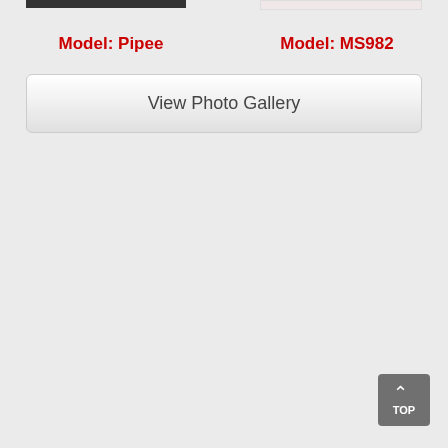[Figure (photo): Partial product photo for Model: Pipee at top left]
Model: Pipee
[Figure (photo): Partial product photo for Model: MS982 at top right]
Model: MS982
View Photo Gallery
TOP